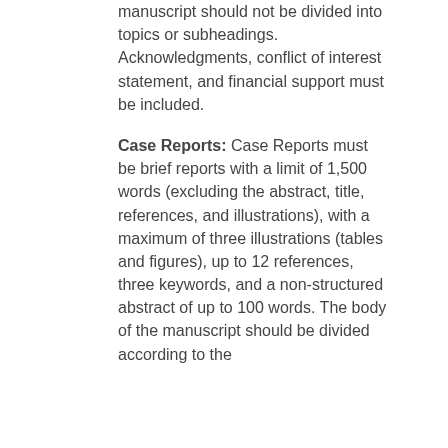manuscript should not be divided into topics or subheadings. Acknowledgments, conflict of interest statement, and financial support must be included.
Case Reports: Case Reports must be brief reports with a limit of 1,500 words (excluding the abstract, title, references, and illustrations), with a maximum of three illustrations (tables and figures), up to 12 references, three keywords, and a non-structured abstract of up to 100 words. The body of the manuscript should be divided according to the